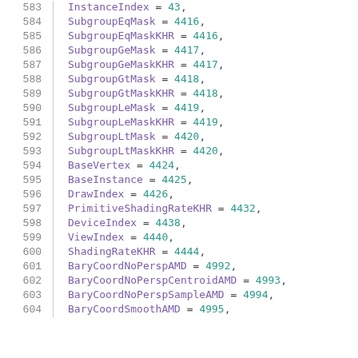583  InstanceIndex = 43,
584  SubgroupEqMask = 4416,
585  SubgroupEqMaskKHR = 4416,
586  SubgroupGeMask = 4417,
587  SubgroupGeMaskKHR = 4417,
588  SubgroupGtMask = 4418,
589  SubgroupGtMaskKHR = 4418,
590  SubgroupLeMask = 4419,
591  SubgroupLeMaskKHR = 4419,
592  SubgroupLtMask = 4420,
593  SubgroupLtMaskKHR = 4420,
594  BaseVertex = 4424,
595  BaseInstance = 4425,
596  DrawIndex = 4426,
597  PrimitiveShadingRateKHR = 4432,
598  DeviceIndex = 4438,
599  ViewIndex = 4440,
600  ShadingRateKHR = 4444,
601  BaryCoordNoPerspAMD = 4992,
602  BaryCoordNoPerspCentroidAMD = 4993,
603  BaryCoordNoPerspSampleAMD = 4994,
604  BaryCoordSmoothAMD = 4995,